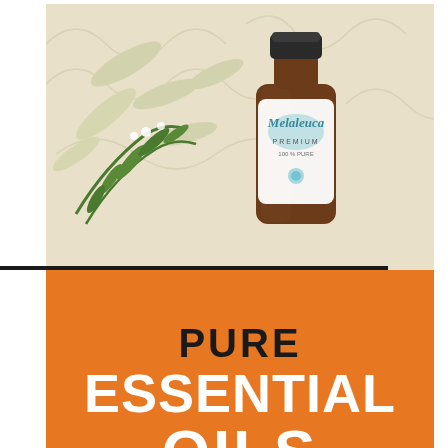[Figure (photo): A brown glass bottle of Melaleuca (tea tree) premium essential oil surrounded by tea tree branches with white buds, on a light textured background with leaf patterns.]
PURE ESSENTIAL OILS
[Figure (photo): Three brown glass essential oil bottles labeled Marjoram, basil, and Sandalwood (premium), arranged together on a light textured background with leaf patterns.]